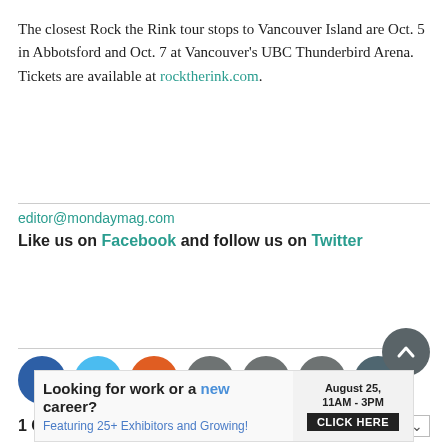The closest Rock the Rink tour stops to Vancouver Island are Oct. 5 in Abbotsford and Oct. 7 at Vancouver's UBC Thunderbird Arena. Tickets are available at rocktherink.com.
editor@mondaymag.com
Like us on Facebook and follow us on Twitter
[Figure (infographic): Row of 7 social media and action icon circles: Facebook (dark blue), Twitter (light blue), Reddit (orange), Email (grey), Print (grey), Comment (grey), Image (dark teal-grey)]
1 Comment    Sort by Newest
[Figure (infographic): Scroll-to-top button: dark grey circle with upward chevron arrow]
[Figure (infographic): Advertisement banner: 'Looking for work or a new career? August 25, 11AM - 3PM  Featuring 25+ Exhibitors and Growing! CLICK HERE']